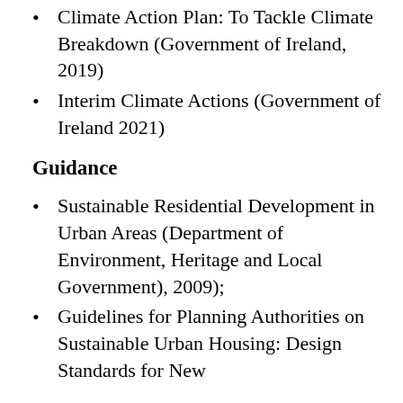Climate Action Plan: To Tackle Climate Breakdown (Government of Ireland, 2019)
Interim Climate Actions (Government of Ireland 2021)
Guidance
Sustainable Residential Development in Urban Areas (Department of Environment, Heritage and Local Government), 2009);
Guidelines for Planning Authorities on Sustainable Urban Housing: Design Standards for New